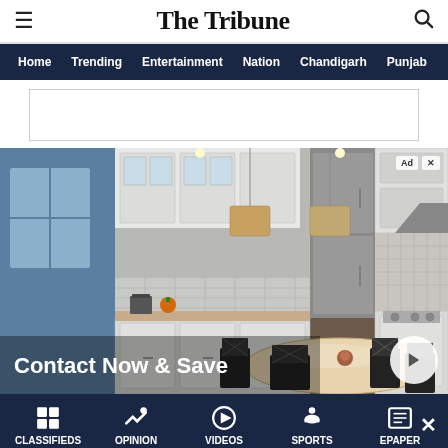The Tribune
Home | Trending | Entertainment | Nation | Chandigarh | Punjab
[Figure (advertisement): Kitchen remodel advertisement showing white cabinets and dining table with text 'Contact Now & Save']
CLASSIFIEDS | OPINION | VIDEOS | SPORTS | EPAPER
KBR Kitchen & Bath
Contact Now & Save Up To $3000
GET QUOTE